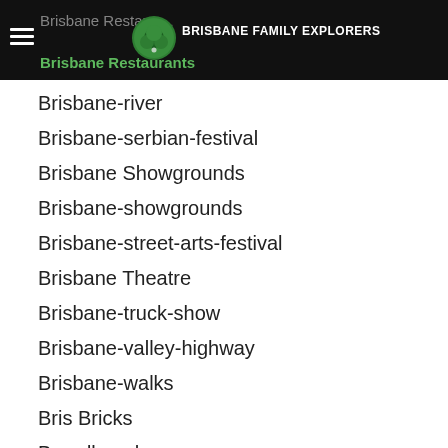Brisbane Restaurants | Brisbane Family Explorers
Brisbane-river
Brisbane-serbian-festival
Brisbane Showgrounds
Brisbane-showgrounds
Brisbane-street-arts-festival
Brisbane Theatre
Brisbane-truck-show
Brisbane-valley-highway
Brisbane-walks
Bris Bricks
Broadbeach
Brookside-family-fun-day
Brookside-shopping-centre
Buddha-birth-day-festival
Buddhism
Buderim Falls